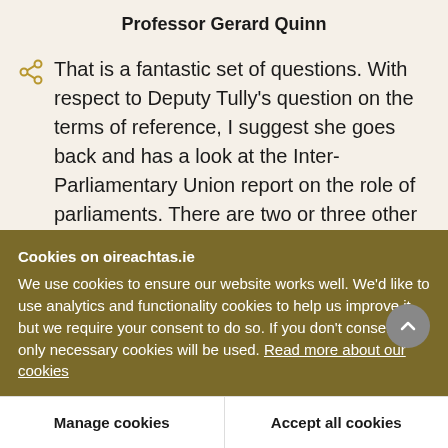Professor Gerard Quinn
That is a fantastic set of questions. With respect to Deputy Tully's question on the terms of reference, I suggest she goes back and has a look at the Inter-Parliamentary Union report on the role of parliaments. There are two or three other parliaments in the world that are very active, including the New Zealand Parliament. The
Cookies on oireachtas.ie
We use cookies to ensure our website works well. We'd like to use analytics and functionality cookies to help us improve it but we require your consent to do so. If you don't consent, only necessary cookies will be used. Read more about our cookies
Manage cookies
Accept all cookies